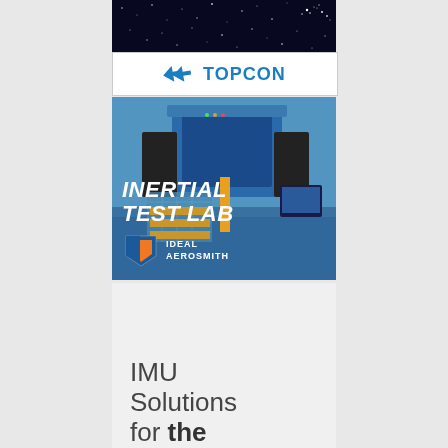[Figure (advertisement): Topcon advertisement with starfield background and Topcon logo]
[Figure (advertisement): Ideal Aerosmith advertisement featuring Inertial Test Lab with blue industrial machine and logo overlay]
[Figure (advertisement): IMU Solutions advertisement with light gray background showing text 'IMU Solutions for the']